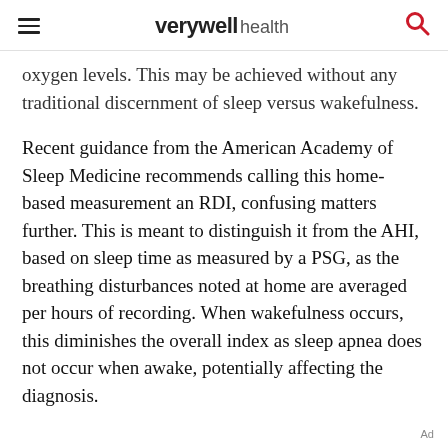verywell health
oxygen levels. This may be achieved without any traditional discernment of sleep versus wakefulness.
Recent guidance from the American Academy of Sleep Medicine recommends calling this home-based measurement an RDI, confusing matters further. This is meant to distinguish it from the AHI, based on sleep time as measured by a PSG, as the breathing disturbances noted at home are averaged per hours of recording. When wakefulness occurs, this diminishes the overall index as sleep apnea does not occur when awake, potentially affecting the diagnosis.
Ad